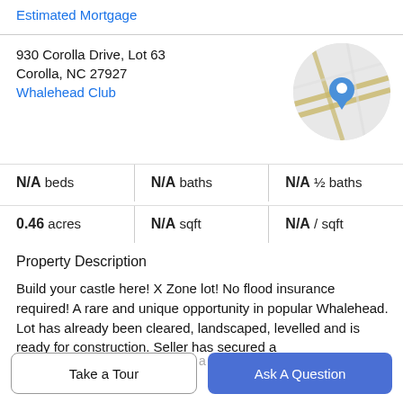Estimated Mortgage
930 Corolla Drive, Lot 63
Corolla, NC 27927
Whalehead Club
[Figure (map): Circular map thumbnail showing street map with a blue location pin marker, roads in yellow/tan on a gray background.]
N/A beds | N/A baths | N/A ½ baths
0.46 acres | N/A sqft | N/A / sqft
Property Description
Build your castle here! X Zone lot! No flood insurance required! A rare and unique opportunity in popular Whalehead. Lot has already been cleared, landscaped, levelled and is ready for construction. Seller has secured a
permit from Currituck County for a 12 Bedroom &amp; Bath...
Take a Tour
Ask A Question